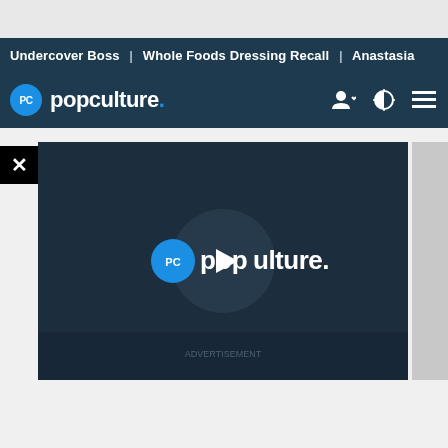Undercover Boss | Whole Foods Dressing Recall | Anastasia
[Figure (logo): PopCulture.com logo with navigation icons (user, theme toggle, hamburger menu)]
[Figure (screenshot): Video player overlay showing PopCulture logo with play button in center on dark background]
View more on Instagram
[Figure (infographic): Instagram action icons: heart (like), comment bubble, share arrow, and bookmark]
7,662 likes